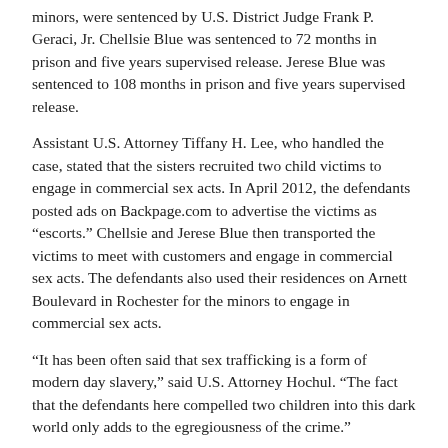minors, were sentenced by U.S. District Judge Frank P. Geraci, Jr. Chellsie Blue was sentenced to 72 months in prison and five years supervised release. Jerese Blue was sentenced to 108 months in prison and five years supervised release.
Assistant U.S. Attorney Tiffany H. Lee, who handled the case, stated that the sisters recruited two child victims to engage in commercial sex acts. In April 2012, the defendants posted ads on Backpage.com to advertise the victims as “escorts.” Chellsie and Jerese Blue then transported the victims to meet with customers and engage in commercial sex acts. The defendants also used their residences on Arnett Boulevard in Rochester for the minors to engage in commercial sex acts.
“It has been often said that sex trafficking is a form of modern day slavery,” said U.S. Attorney Hochul. “The fact that the defendants here compelled two children into this dark world only adds to the egregiousness of the crime.”
The sentencing is the culmination of an investigation on the part of the Federal Bureau of Investigation’s Child Exploitation Task Force, which includes the Rochester Police Department, under the direction of Chief Michael Ciminelli.